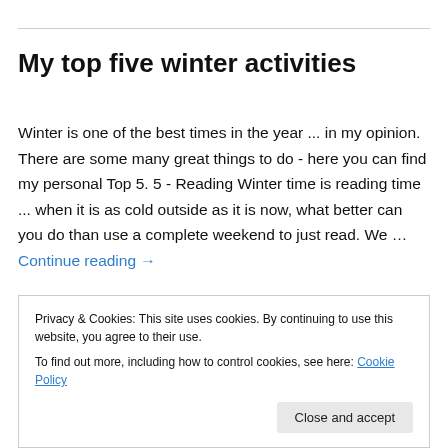My top five winter activities
Winter is one of the best times in the year ... in my opinion. There are some many great things to do - here you can find my personal Top 5. 5 - Reading Winter time is reading time ... when it is as cold outside as it is now, what better can you do than use a complete weekend to just read. We … Continue reading →
Privacy & Cookies: This site uses cookies. By continuing to use this website, you agree to their use.
To find out more, including how to control cookies, see here: Cookie Policy